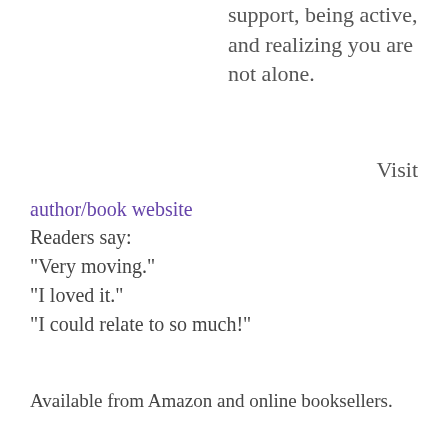support, being active, and realizing you are not alone.
Visit
author/book website
Readers say:
“Very moving.”
“I loved it.”
“I could relate to so much!”
Available from Amazon and online booksellers.
Share this:
Facebook  Twitter  LinkedIn  More
Loading…